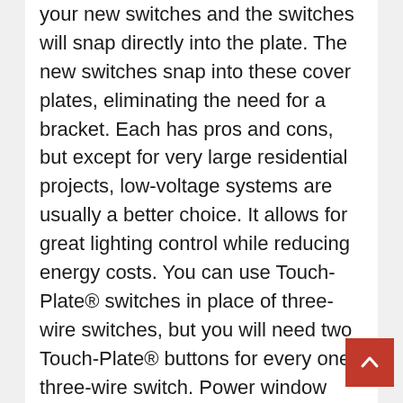your new switches and the switches will snap directly into the plate. The new switches snap into these cover plates, eliminating the need for a bracket. Each has pros and cons, but except for very large residential projects, low-voltage systems are usually a better choice. It allows for great lighting control while reducing energy costs. You can use Touch-Plate® switches in place of three-wire switches, but you will need two Touch-Plate® buttons for every one three-wire switch. Power window switches are a common example. Use waterproof pond lights for illuminating pools, fountains and other water features; offset path lights for lighting walkways; cone lights for highlighting both walkways and the surrounding plants; tree-mounted spotlights for simulating